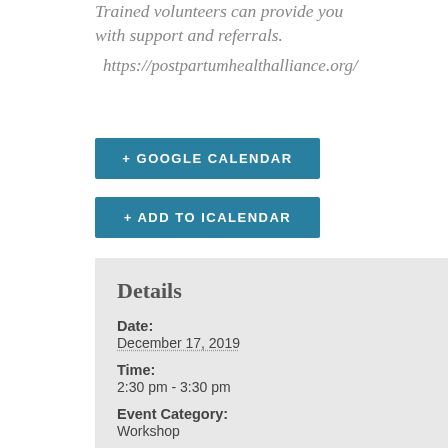Trained volunteers can provide you with support and referrals.
https://postpartumhealthalliance.org/
+ GOOGLE CALENDAR
+ ADD TO ICALENDAR
Details
Date: December 17, 2019
Time: 2:30 pm - 3:30 pm
Event Category: Workshop
Event Tags: baby sleep, Co-sleeping, Cosleeping, Sleep Sharing, sleep training